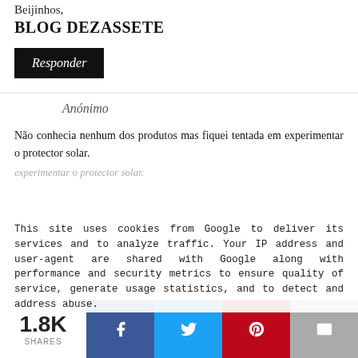Beijinhos,
BLOG DEZASSETE
Responder
Anónimo
Não conhecia nenhum dos produtos mas fiquei tentada em experimentar o protector solar.
This site uses cookies from Google to deliver its services and to analyze traffic. Your IP address and user-agent are shared with Google along with performance and security metrics to ensure quality of service, generate usage statistics, and to detect and address abuse.
Responder
1.8K SHARES